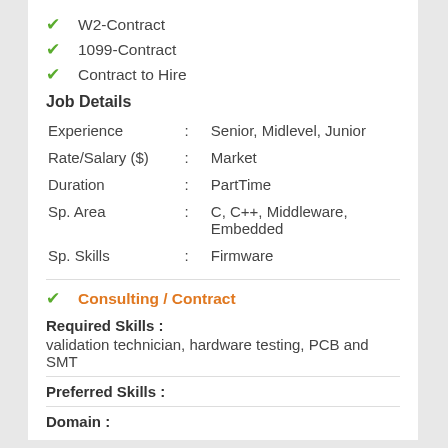✔ W2-Contract
✔ 1099-Contract
✔ Contract to Hire
Job Details
| Field | : | Value |
| --- | --- | --- |
| Experience | : | Senior, Midlevel, Junior |
| Rate/Salary ($) | : | Market |
| Duration | : | PartTime |
| Sp. Area | : | C, C++, Middleware, Embedded |
| Sp. Skills | : | Firmware |
✔ Consulting / Contract
Required Skills :
validation technician, hardware testing, PCB and SMT
Preferred Skills :
Domain :